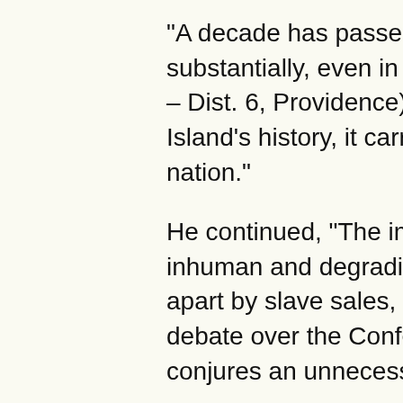“A decade has passed since the public was substantially, even in the past few years – a – Dist. 6, Providence). “Whatever the mean Island’s history, it carries a horrific connotat nation.”
He continued, “The images that come to mi inhuman and degrading treatment of the Afr apart by slave sales, rapes and lynchings. I debate over the Confederate flag, retaining conjures an unnecessary and painful remin
The senator noted that his own church, Cor deacon, was demolished by its white neigh rebuilt in its current location. His own mater near Charlottesville, VA, according his grea 106 years-old.
“Making this change would pay some respe would stop serving as a constant reminder said.
Because the name change requires a cons
The Senate is expected to consider the res